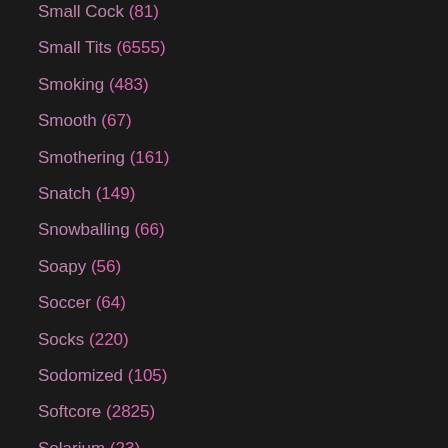Small Cock (81)
Small Tits (6555)
Smoking (483)
Smooth (67)
Smothering (161)
Snatch (149)
Snowballing (66)
Soapy (56)
Soccer (64)
Socks (220)
Sodomized (105)
Softcore (2825)
Solarium (23)
Solo (3751)
Solo Girl (1196)
Solo Mom (54)